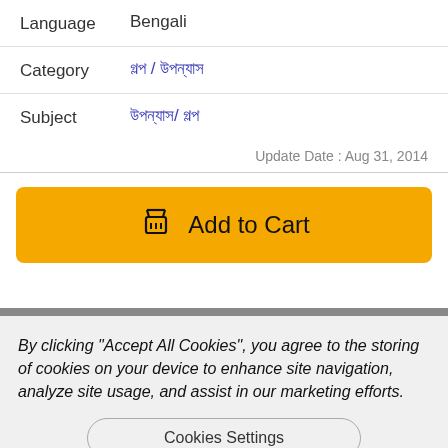| Field | Value |
| --- | --- |
| Language | Bengali |
| Category | গল্প / উপন্যাস |
| Subject | উপন্যাস/ গল্প |
Update Date : Aug 31, 2014
[Figure (screenshot): Add to Cart button in yellow/orange with shopping basket icon]
By clicking "Accept All Cookies", you agree to the storing of cookies on your device to enhance site navigation, analyze site usage, and assist in our marketing efforts.
Cookies Settings
Accept All Cookies